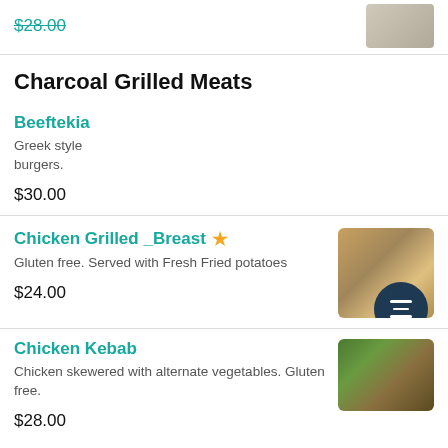$28.00
Charcoal Grilled Meats
Beeftekia
Greek style burgers.
$30.00
Chicken Grilled _Breast
Gluten free. Served with Fresh Fried potatoes
$24.00
Chicken Kebab
Chicken skewered with alternate vegetables. Gluten free.
$28.00